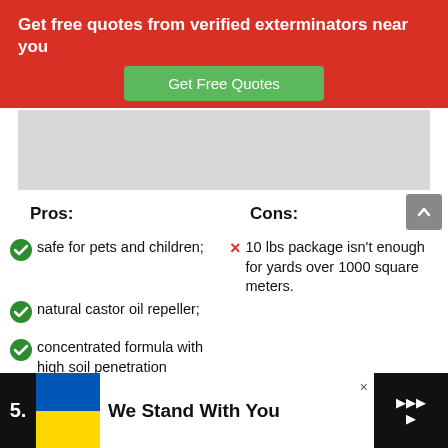Get free quotes from verified exterminators near you
[Figure (screenshot): Green button labeled 'Get Free Quotes']
[Figure (other): Gray advertisement placeholder rectangle]
Pros:
Cons:
safe for pets and children;
natural castor oil repeller;
concentrated formula with high soil penetration features;
fully biodegradable.
10 lbs package isn't enough for yards over 1000 square meters.
[Figure (infographic): Bottom banner ad: Ukraine flag with text 'We Stand With You']